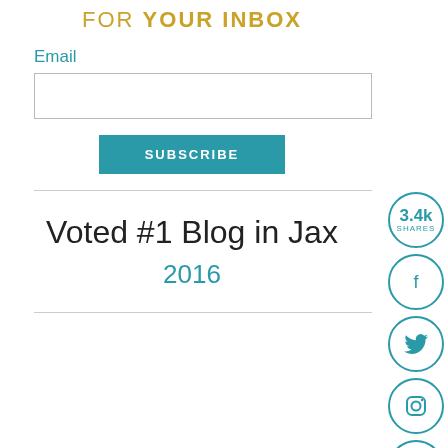FOR YOUR INBOX
Email
SUBSCRIBE
Voted #1 Blog in Jax
2016